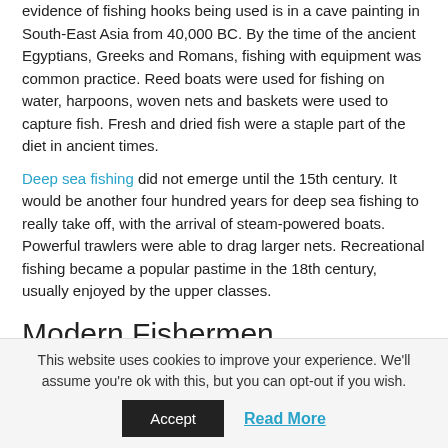evidence of fishing hooks being used is in a cave painting in South-East Asia from 40,000 BC. By the time of the ancient Egyptians, Greeks and Romans, fishing with equipment was common practice. Reed boats were used for fishing on water, harpoons, woven nets and baskets were used to capture fish. Fresh and dried fish were a staple part of the diet in ancient times.
Deep sea fishing did not emerge until the 15th century. It would be another four hundred years for deep sea fishing to really take off, with the arrival of steam-powered boats. Powerful trawlers were able to drag larger nets. Recreational fishing became a popular pastime in the 18th century, usually enjoyed by the upper classes.
Modern Fishermen
Commercial fishermen or fishers use nets, rods and traps to catch fish and other marine life that will be sold for consumption by humans or used as animal feed. Some fishers work in large crews on trawlers and boats in deep water, others work in more shallow water with a small crew.
This website uses cookies to improve your experience. We'll assume you're ok with this, but you can opt-out if you wish. Accept Read More